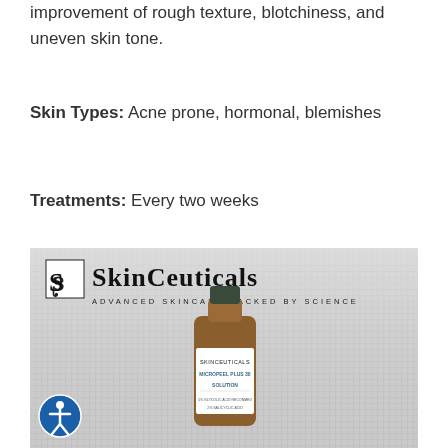improvement of rough texture, blotchiness, and uneven skin tone.
Skin Types: Acne prone, hormonal, blemishes
Treatments: Every two weeks
[Figure (photo): SkinCeuticals advertisement image showing the brand logo, tagline 'Advanced Skincare Backed By Science', and an amber glass bottle of Micropeel Plus 30 Solution on a silver mesh background.]